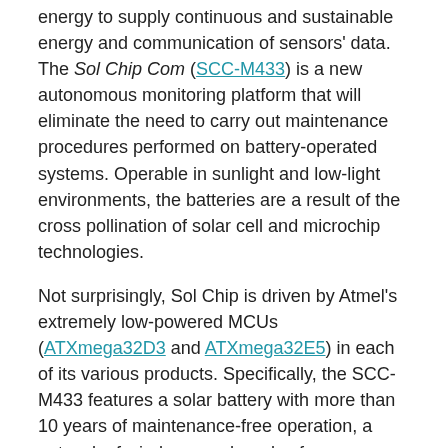energy to supply continuous and sustainable energy and communication of sensors' data. The Sol Chip Com (SCC-M433) is a new autonomous monitoring platform that will eliminate the need to carry out maintenance procedures performed on battery-operated systems. Operable in sunlight and low-light environments, the batteries are a result of the cross pollination of solar cell and microchip technologies.
Not surprisingly, Sol Chip is driven by Atmel's extremely low-powered MCUs (ATXmega32D3 and ATXmega32E5) in each of its various products. Specifically, the SCC-M433 features a solar battery with more than 10 years of maintenance-free operation, a network of wireless mesh nodes for coverage ranging up to 1,500 meters and 433Mdz radio frequency for outdoor applications.
Based on a patented IP, SCC-M433 integrates all required components into a single unit to operate 24 hours a day during summer and winter. Once an analog or digital sensor is